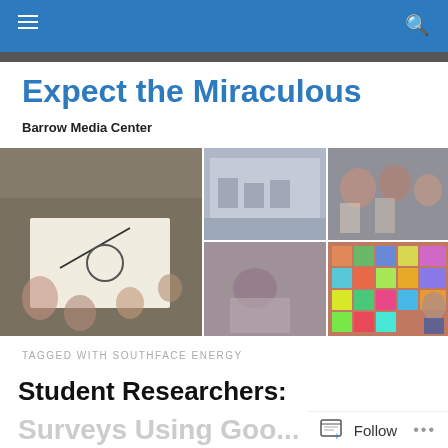Navigation bar with hamburger menu and search icon
Expect the Miraculous
Barrow Media Center
[Figure (photo): Collage of school photos: children drawing on paper, students in classrooms, colorful artwork display, student reading a book]
TAGGED WITH SOUTHFACE ENERGY
Student Researchers:
Surveys Using Goo...